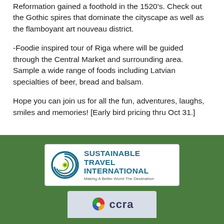Reformation gained a foothold in the 1520's. Check out the Gothic spires that dominate the cityscape as well as the flamboyant art nouveau district.
-Foodie inspired tour of Riga where will be guided through the Central Market and surrounding area. Sample a wide range of foods including Latvian specialties of beer, bread and balsam.
Hope you can join us for all the fun, adventures, laughs, smiles and memories! [Early bird pricing thru Oct 31.]
[Figure (logo): Sustainable Travel International logo with circular wave icon and tagline 'Making A Better World The Destination']
[Figure (logo): CCRA logo — partial view at bottom of page]